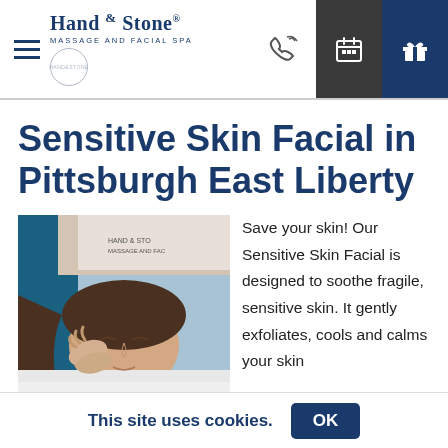Hand & Stone Massage and Facial Spa — navigation header
Sensitive Skin Facial in Pittsburgh East Liberty
[Figure (photo): A woman lying down receiving a facial treatment from a massage therapist. The therapist's hands are gently working on the woman's face. A Hand & Stone branded uniform is visible.]
Save your skin! Our Sensitive Skin Facial is designed to soothe fragile, sensitive skin. It gently exfoliates, cools and calms your skin
This site uses cookies.